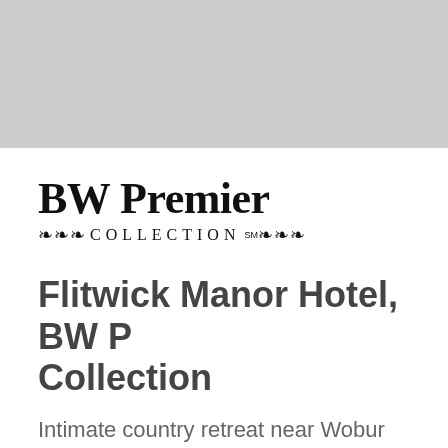[Figure (photo): Gray placeholder image area at the top of the page]
[Figure (logo): BW Premier Collection logo with decorative ornamental flourishes around the word COLLECTION and SM superscript]
Flitwick Manor Hotel, BW Premier Collection
Intimate country retreat near Wobur
As you sweep along the tree-lined d